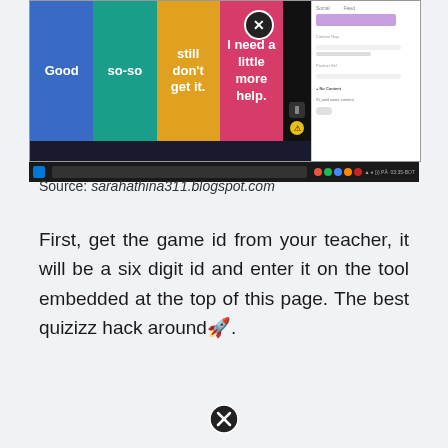[Figure (screenshot): Screenshot of a Quizizz game interface showing colored tiles labeled 'Good', 'so-so', 'still don't get it.', 'I need a little more help.' with an X close button, and a right panel showing settings/scores. Below is a Windows taskbar.]
Source: sarahathina311.blogspot.com
First, get the game id from your teacher, it will be a six digit id and enter it on the tool embedded at the top of this page. The best quizizz hack around🚀.